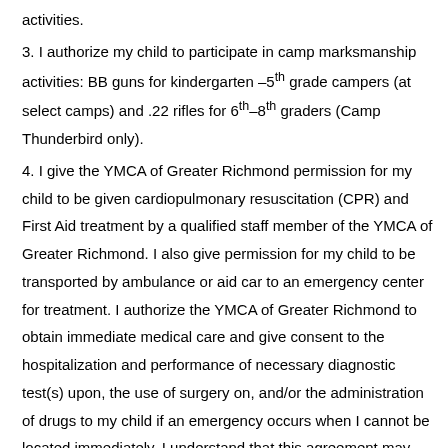activities.
3. I authorize my child to participate in camp marksmanship activities: BB guns for kindergarten –5th grade campers (at select camps) and .22 rifles for 6th–8th graders (Camp Thunderbird only).
4. I give the YMCA of Greater Richmond permission for my child to be given cardiopulmonary resuscitation (CPR) and First Aid treatment by a qualified staff member of the YMCA of Greater Richmond. I also give permission for my child to be transported by ambulance or aid car to an emergency center for treatment. I authorize the YMCA of Greater Richmond to obtain immediate medical care and give consent to the hospitalization and performance of necessary diagnostic test(s) upon, the use of surgery on, and/or the administration of drugs to my child if an emergency occurs when I cannot be located immediately. I understand that this agreement may cover only those situations which are true emergencies and only